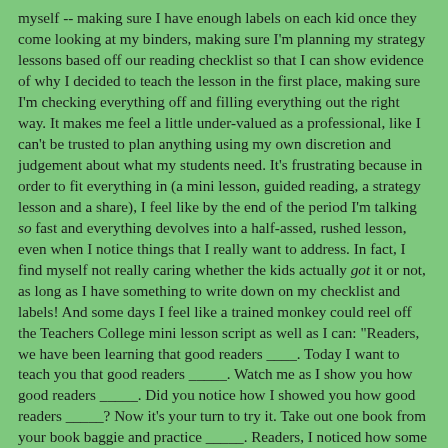myself -- making sure I have enough labels on each kid once they come looking at my binders, making sure I'm planning my strategy lessons based off our reading checklist so that I can show evidence of why I decided to teach the lesson in the first place, making sure I'm checking everything off and filling everything out the right way. It makes me feel a little under-valued as a professional, like I can't be trusted to plan anything using my own discretion and judgement about what my students need. It's frustrating because in order to fit everything in (a mini lesson, guided reading, a strategy lesson and a share), I feel like by the end of the period I'm talking so fast and everything devolves into a half-assed, rushed lesson, even when I notice things that I really want to address. In fact, I find myself not really caring whether the kids actually got it or not, as long as I have something to write down on my checklist and labels! And some days I feel like a trained monkey could reel off the Teachers College mini lesson script as well as I can: "Readers, we have been learning that good readers ____. Today I want to teach you that good readers _____. Watch me as I show you how good readers _____. Did you notice how I showed you how good readers _____? Now it's your turn to try it. Take out one book from your book baggie and practice _____. Readers, I noticed how some of you ____. Today and every day I want you to remember